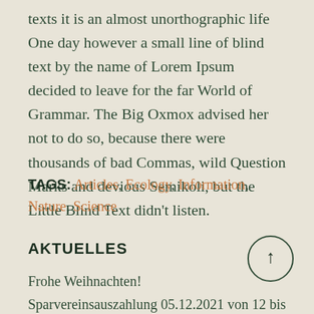texts it is an almost unorthographic life One day however a small line of blind text by the name of Lorem Ipsum decided to leave for the far World of Grammar. The Big Oxmox advised her not to do so, because there were thousands of bad Commas, wild Question Marks and devious Semikoli, but the Little Blind Text didn't listen.
TAGS: Articles, Ecology, Information, Nature, Science
AKTUELLES
Frohe Weihnachten!
Sparvereinsauszahlung 05.12.2021 von 12 bis 14 Uhr